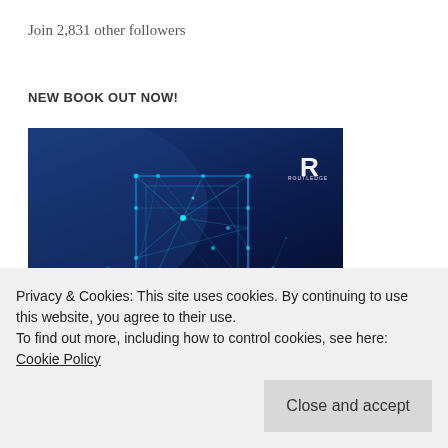Join 2,831 other followers
NEW BOOK OUT NOW!
[Figure (illustration): Book cover showing a geometric wireframe figure of hands holding a book with network/connectivity dots and lines on a dark blue background, with a stylized R logo (Routledge) in the upper right corner, and the word JOURNALISM partially visible at the bottom.]
Privacy & Cookies: This site uses cookies. By continuing to use this website, you agree to their use.
To find out more, including how to control cookies, see here: Cookie Policy
Close and accept